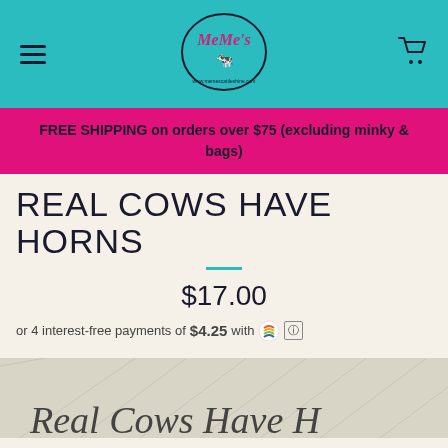MeMe's — hamburger menu, logo, cart icon
FREE SHIPPING on orders over $75 (excluding minky & bags)
REAL COWS HAVE HORNS
$17.00
or 4 interest-free payments of $4.25 with Sezzle
[Figure (photo): Partially visible product image showing cursive text 'Real Cows Have Horns' on a light background with subtle pattern]